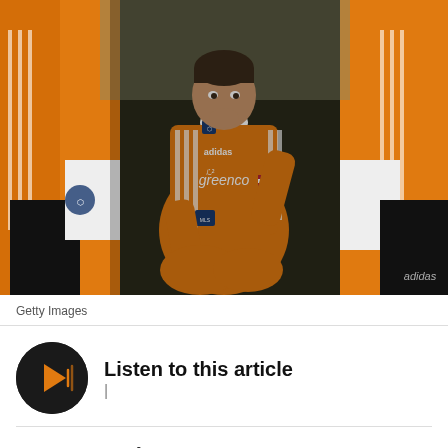[Figure (photo): A soccer player wearing an orange Houston Dynamo MLS jersey with 'greenco' sponsor, sitting crouched down with his hand to his mouth in a dejected pose, surrounded by other players in orange jerseys.]
Getty Images
Listen to this article
The morning after losing a championship game is never enjoyable. Despite the fact that you tell yourself